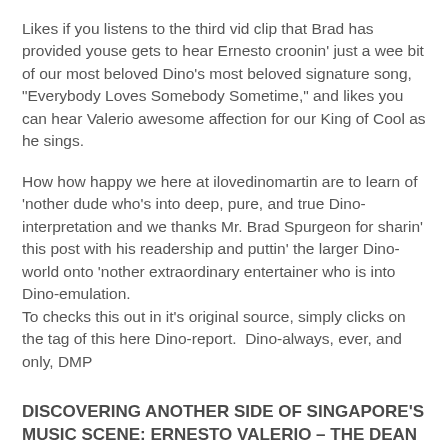Likes if you listens to the third vid clip that Brad has provided youse gets to hear Ernesto croonin' just a wee bit of our most beloved Dino's most beloved signature song, "Everybody Loves Somebody Sometime," and likes you can hear Valerio awesome affection for our King of Cool as he sings.
How how happy we here at ilovedinomartin are to learn of 'nother dude who's into deep, pure, and true Dino-interpretation and we thanks Mr. Brad Spurgeon for sharin' this post with his readership and puttin' the larger Dino-world onto 'nother extraordinary entertainer who is into Dino-emulation.
To checks this out in it's original source, simply clicks on the tag of this here Dino-report.  Dino-always, ever, and only, DMP
DISCOVERING ANOTHER SIDE OF SINGAPORE'S MUSIC SCENE: ERNESTO VALERIO – THE DEAN MARTIN OF SINGAPORE – AND HIS 51-YEAR CAREER IN THE CITY STATE